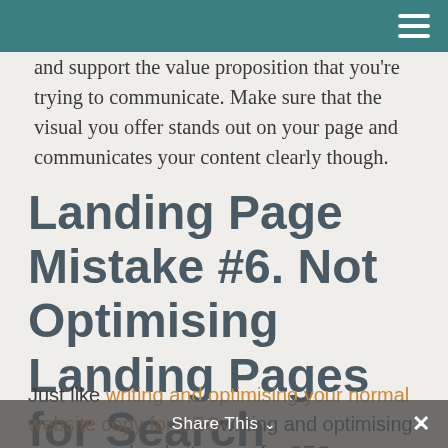and support the value proposition that you're trying to communicate. Make sure that the visual you offer stands out on your page and communicates your content clearly though.
Landing Page Mistake #6. Not Optimising Landing Pages for Search
Just like writing and optimising your normal website copy for SEOwriting and optimising your normal website copy for SEO, you should also do this same…